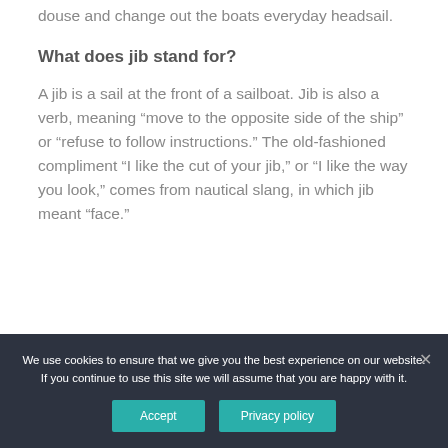douse and change out the boats everyday headsail.
What does jib stand for?
A jib is a sail at the front of a sailboat. Jib is also a verb, meaning “move to the opposite side of the ship” or “refuse to follow instructions.” The old-fashioned compliment “I like the cut of your jib,” or “I like the way you look,” comes from nautical slang, in which jib meant “face.”
We use cookies to ensure that we give you the best experience on our website. If you continue to use this site we will assume that you are happy with it.